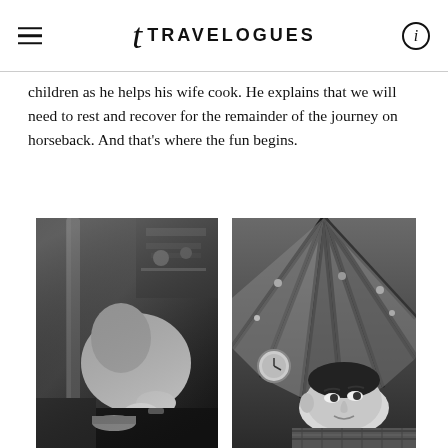t TRAVELOGUES
children as he helps his wife cook. He explains that we will need to rest and recover for the remainder of the journey on horseback. And that’s where the fun begins.
[Figure (photo): Black and white photo of a person in a dark interior space, leaning over, seemingly cooking or working, with shelves and utensils visible in the background.]
[Figure (photo): Black and white photo of a person lying down and looking up inside a yurt or tent structure, with lattice-like wooden framework and fabric visible above them, and a gauge/clock visible in the background.]